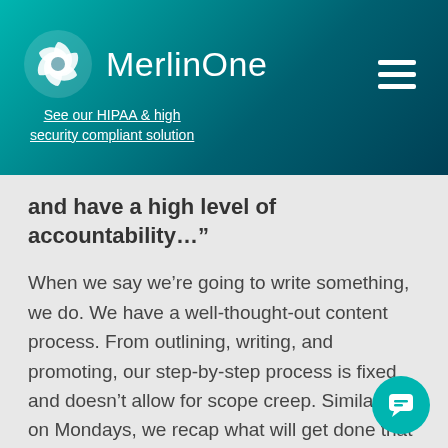MerlinOne — See our HIPAA & high security compliant solution
and have a high level of accountability…”
When we say we’re going to write something, we do. We have a well-thought-out content process. From outlining, writing, and promoting, our step-by-step process is fixed and doesn’t allow for scope creep. Similarly, on Mondays, we recap what will get done that week in our sprint. And on Fridays, we go over the status of everything. Our team’s cons… communication and use of Trello helps us stay